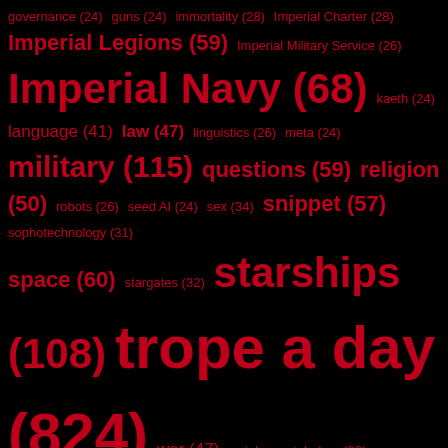governance (24) guns (24) immortality (28) Imperial Charter (28) Imperial Legions (59) Imperial Military Service (26) Imperial Navy (68) kaeth (24) language (41) law (47) linguistics (26) meta (24) military (115) questions (59) religion (50) robots (26) seed AI (24) sex (34) snippet (57) sophotechnology (31) space (60) stargates (32) starships (108) trope a day (824) war (47) watch constabulary (30) worldbuilding (215) writing (684)
SEAL OF APPROVAL
[Figure (logo): Circular blue badge/seal with white text reading 'ATOMIC ROCKETS SEAL OF APPROVAL' around the border, and a white rocket ship with an atomic orbit symbol in the center, on a black background.]